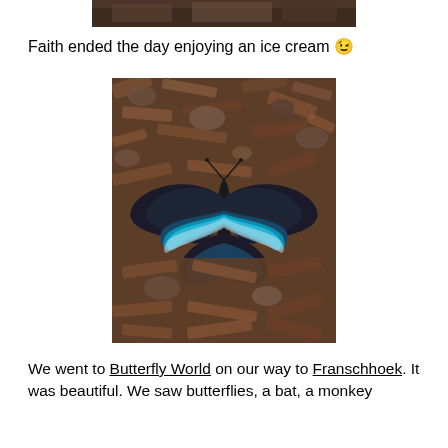[Figure (photo): Partial top edge of a photo, cropped at page top]
Faith ended the day enjoying an ice cream 😉
[Figure (photo): A dark blue and black butterfly with iridescent blue markings on its wings, resting on reddish-brown bark/wood chip ground]
We went to Butterfly World on our way to Franschhoek. It was beautiful. We saw butterflies, a bat, a monkey